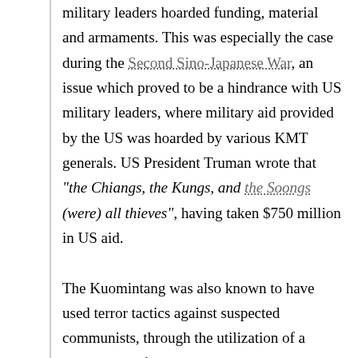military leaders hoarded funding, material and armaments. This was especially the case during the Second Sino-Japanese War, an issue which proved to be a hindrance with US military leaders, where military aid provided by the US was hoarded by various KMT generals. US President Truman wrote that "the Chiangs, the Kungs, and the Soongs (were) all thieves", having taken $750 million in US aid.

The Kuomintang was also known to have used terror tactics against suspected communists, through the utilization of a secret police force, whom were employed to maintain surveillance on suspected communists and political opponents. In "The Birth of Communist China", C.P. Fitzgerald describes China under the rule of KMT thus: "the